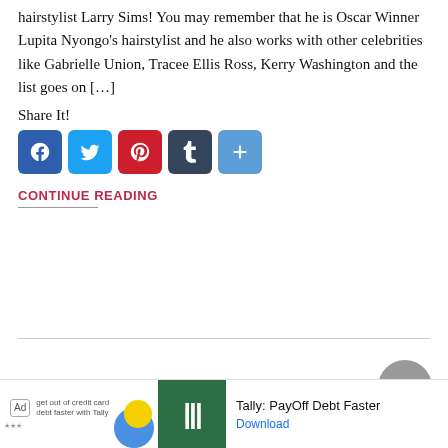hairstylist Larry Sims! You may remember that he is Oscar Winner Lupita Nyongo's hairstylist and he also works with other celebrities like Gabrielle Union, Tracee Ellis Ross, Kerry Washington and the list goes on […]
Share It!
[Figure (infographic): Social share buttons: Facebook (blue), Twitter (light blue), Pinterest (red), Tumblr (dark slate), and a More/Share (blue) button with plus icon]
CONTINUE READING
[Figure (infographic): Back to top arrow button, circular grey, with upward chevron icon, and an X close button]
[Figure (infographic): Ad bar at bottom: Ad badge, decorative blobs, Tally green logo, 'Tally: PayOff Debt Faster' text, Download link]